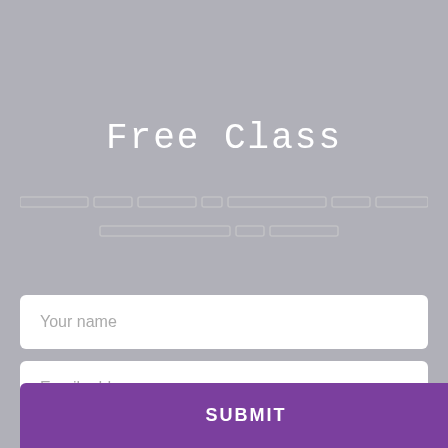Free Class
[redacted text line 1]
[redacted text line 2]
Your name
Email address
SUBMIT